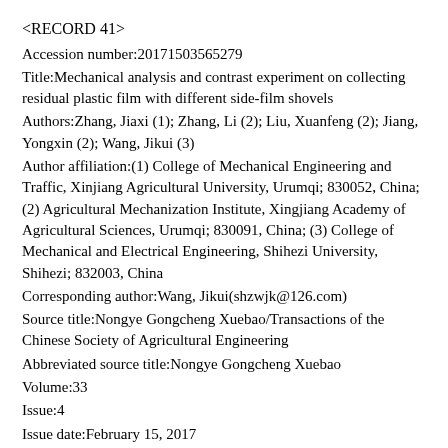<RECORD 41>
Accession number:20171503565279
Title:Mechanical analysis and contrast experiment on collecting residual plastic film with different side-film shovels
Authors:Zhang, Jiaxi (1); Zhang, Li (2); Liu, Xuanfeng (2); Jiang, Yongxin (2); Wang, Jikui (3)
Author affiliation:(1) College of Mechanical Engineering and Traffic, Xinjiang Agricultural University, Urumqi; 830052, China; (2) Agricultural Mechanization Institute, Xingjiang Academy of Agricultural Sciences, Urumqi; 830091, China; (3) College of Mechanical and Electrical Engineering, Shihezi University, Shihezi; 832003, China
Corresponding author:Wang, Jikui(shzwjk@126.com)
Source title:Nongye Gongcheng Xuebao/Transactions of the Chinese Society of Agricultural Engineering
Abbreviated source title:Nongye Gongcheng Xuebao
Volume:33
Issue:4
Issue date:February 15, 2017
Publication year:2017